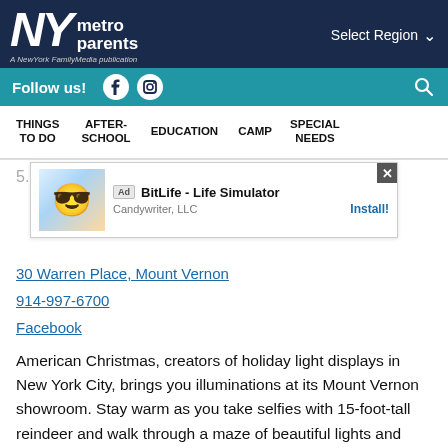NY metro parents — A New York FamilyMedia publication | Select Region
Follow us! [Facebook] [Instagram] [Search]
THINGS TO DO | AFTER-SCHOOL | EDUCATION | CAMP | SPECIAL NEEDS
[Figure (screenshot): Ad overlay: BitLife - Life Simulator by Candywriter, LLC with Install button and close X]
5. Illuminations at the American Christmas [mas] | 30 Warren Place, Mount Vernon | 914-997-6700 | Facebook
American Christmas, creators of holiday light displays in New York City, brings you illuminations at its Mount Vernon showroom. Stay warm as you take selfies with 15-foot-tall reindeer and walk through a maze of beautiful lights and animatronics. A family-friendly indoor experience. Proceeds benefit the efforts of United Way of Westchester and Putnam. Through D...